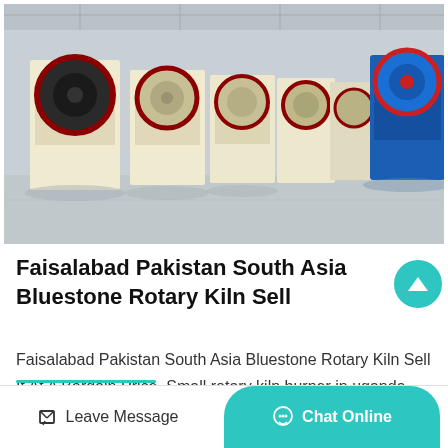[Figure (photo): Industrial warehouse floor with multiple large yellow jaw crusher machines lined up in rows, plus one blue machine visible at right. Concrete floor, metal roof structure visible.]
Faisalabad Pakistan South Asia Bluestone Rotary Kiln Sell
Faisalabad Pakistan South Asia Bluestone Rotary Kiln Sell It At A Bargain Price. Small rotary kiln burner in uganda vetura heavy machinery small rotary kiln burner in ugandauganda small burner...
Leave Message | Chat Online